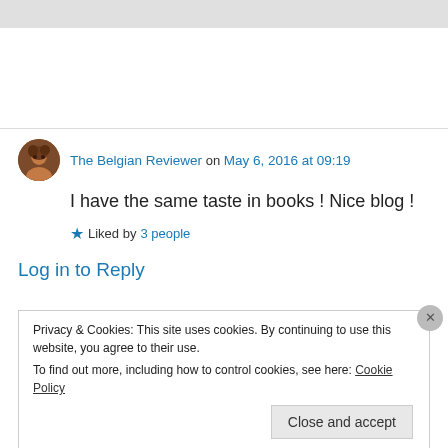[Figure (other): Gray top bar of a webpage]
The Belgian Reviewer on May 6, 2016 at 09:19
I have the same taste in books ! Nice blog !
★ Liked by 3 people
Log in to Reply
Privacy & Cookies: This site uses cookies. By continuing to use this website, you agree to their use.
To find out more, including how to control cookies, see here: Cookie Policy
Close and accept